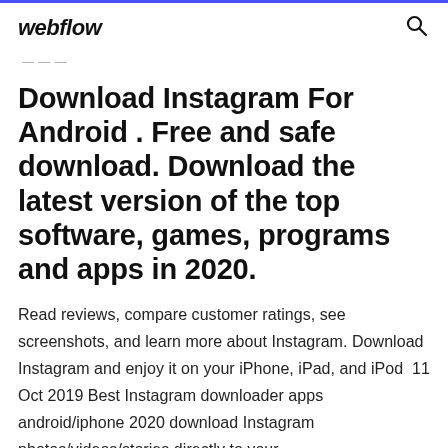webflow
Download Instagram For Android . Free and safe download. Download the latest version of the top software, games, programs and apps in 2020.
Read reviews, compare customer ratings, see screenshots, and learn more about Instagram. Download Instagram and enjoy it on your iPhone, iPad, and iPod  11 Oct 2019 Best Instagram downloader apps android/iphone 2020 download Instagram photos/videos/stories directly to your